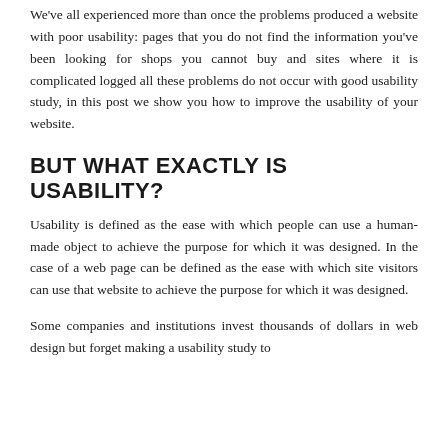We've all experienced more than once the problems produced a website with poor usability: pages that you do not find the information you've been looking for shops you cannot buy and sites where it is complicated logged all these problems do not occur with good usability study, in this post we show you how to improve the usability of your website.
BUT WHAT EXACTLY IS USABILITY?
Usability is defined as the ease with which people can use a human-made object to achieve the purpose for which it was designed. In the case of a web page can be defined as the ease with which site visitors can use that website to achieve the purpose for which it was designed.
Some companies and institutions invest thousands of dollars in web design but forget making a usability study to